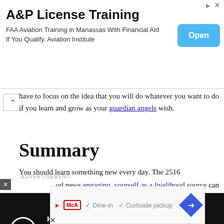[Figure (screenshot): Advertisement banner for A&P License Training. Title: 'A&P License Training'. Body: 'FAA Aviation Training in Manassas With Financial Aid If You Qualify. Aviation Institute'. Blue 'Open' button on the right.]
have to focus on the idea that you will do whatever you want to do if you learn and grow as your guardian angels wish.
Summary
You should learn something new every day. The 2516 angel number is good news engaging_yourself as a livelihood source can help you get vital information
[Figure (screenshot): Advertisement label '-ADVERTISEMENT-' with a close button (x) on left side]
[Figure (screenshot): Video player banner with black background showing 'How To Open 7 Chakras - Meditation and Healing - SunSigns.Org' with circular play button and orange dot]
[Figure (screenshot): Bottom advertisement banner with McA logo, checkmarks, 'Dine-in', 'Curbside pickup' text, and blue diamond navigation arrow]